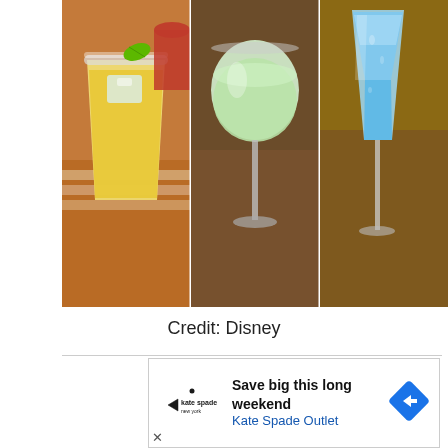[Figure (photo): A collage of three cocktail/drink photos side by side: left shows a yellow/golden drink in a clear plastic cup with a green lime garnish and ice, center shows a pale green frozen drink in a stemmed wine glass, right shows a blue layered drink in a champagne flute.]
Credit: Disney
[Figure (infographic): Advertisement banner for Kate Spade Outlet: 'Save big this long weekend / Kate Spade Outlet' with Kate Spade logo on left and a blue diamond navigation icon on the right.]